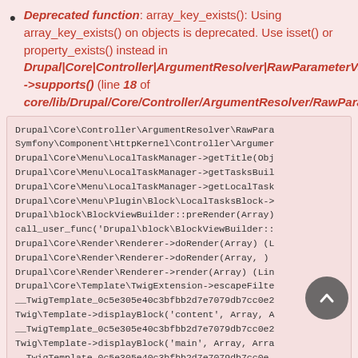Deprecated function: array_key_exists(): Using array_key_exists() on objects is deprecated. Use isset() or property_exists() instead in Drupal|Core|Controller|ArgumentResolver|RawParameterValue->supports() (line 18 of core/lib/Drupal/Core/Controller/ArgumentResolver/RawParam...
[Figure (screenshot): A code block showing a PHP stack trace with Drupal framework calls including ArgumentResolver, LocalTaskManager, BlockViewBuilder, Renderer, TwigExtension, and TwigTemplate entries. A circular scroll-to-top button overlaps the lower right.]